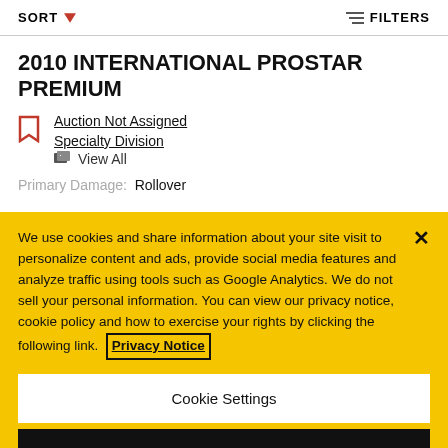SORT   FILTERS
2010 INTERNATIONAL PROSTAR PREMIUM
Auction Not Assigned
Specialty Division
View All
Primary Damage: Rollover
We use cookies and share information about your site visit to personalize content and ads, provide social media features and analyze traffic using tools such as Google Analytics. We do not sell your personal information. You can view our privacy notice, cookie policy and how to exercise your rights by clicking the following link. Privacy Notice
Cookie Settings
Reject All